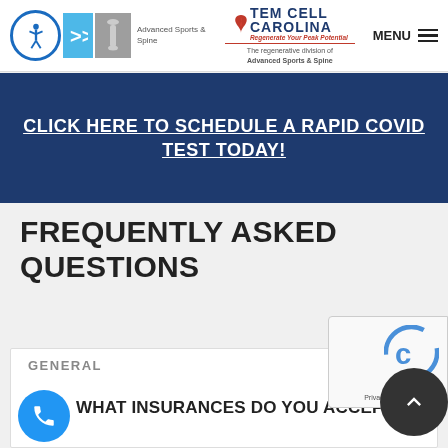[Figure (logo): Advanced Sports & Spine logo with accessibility icon, arrow panels, and spine silhouette panel]
[Figure (logo): Stem Cell Carolina logo - The regenerative division of Advanced Sports & Spine]
MENU
CLICK HERE TO SCHEDULE A RAPID COVID TEST TODAY!
FREQUENTLY ASKED QUESTIONS
GENERAL
WHAT INSURANCES DO YOU ACCEPT?